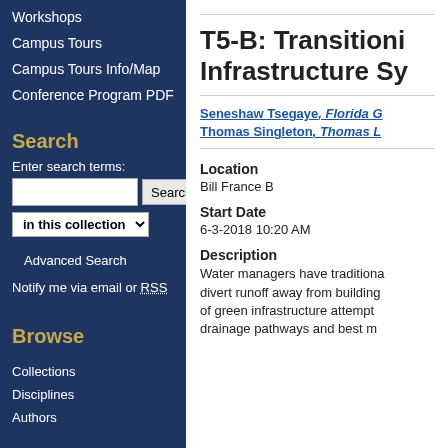Workshops
Campus Tours
Campus Tours Info/Map
Conference Program PDF
Search
Enter search terms:
Browse
Collections
Disciplines
Authors
T5-B: Transitioni... Infrastructure Sy...
Seneshaw Tsegaye, Florida G...; Thomas Singleton, Thomas L...
Location
Bill France B
Start Date
6-3-2018 10:20 AM
Description
Water managers have traditiona... divert runoff away from building... of green infrastructure attempt... drainage pathways and best m...